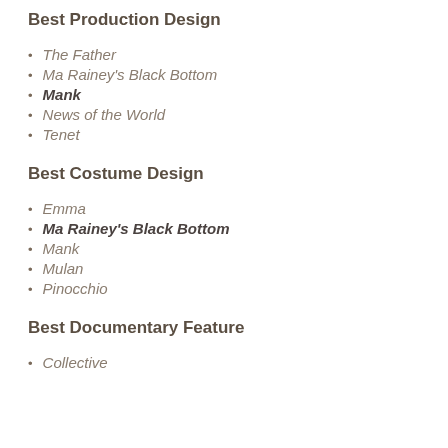Best Production Design
The Father
Ma Rainey's Black Bottom
Mank
News of the World
Tenet
Best Costume Design
Emma
Ma Rainey's Black Bottom
Mank
Mulan
Pinocchio
Best Documentary Feature
Collective